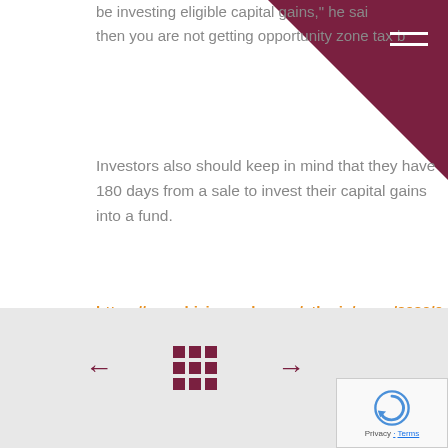be investing eligible capital gains," he said. then you are not getting opportunity zone tax b…
Investors also should keep in mind that they have 180 days from a sale to invest their capital gains into a fund.
https://www.bizjournals.com/stlouis/news/2020/02/10/midas-hospitality-closes-second-opportunity-zone.html?ana=TRUEANTHEMFB_SL&utm_campaign=trueAnthem%3A+TreugZFkSOQ0qhG5IkX0dhiTighJx_cblbqQ6ZE2t0
← ⊞ →  Privacy · Terms